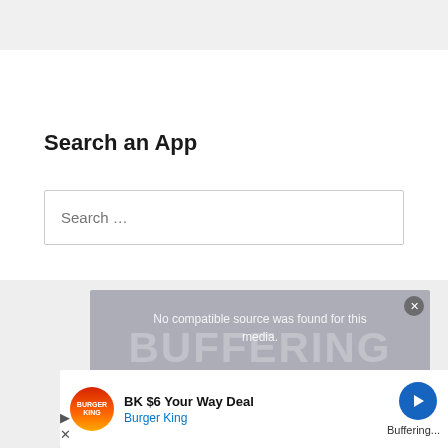Search an App
Search …
[Figure (screenshot): Video player overlay showing 'No compatible source was found for this media.' message over a buffering/fixed background]
[Figure (infographic): Burger King advertisement: BK $6 Your Way Deal, Burger King, with navigation icon showing Buffering...]